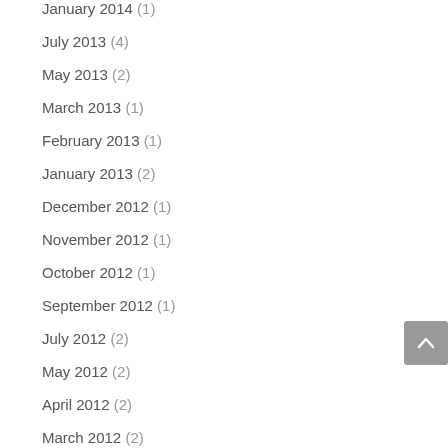January 2014 (1)
July 2013 (4)
May 2013 (2)
March 2013 (1)
February 2013 (1)
January 2013 (2)
December 2012 (1)
November 2012 (1)
October 2012 (1)
September 2012 (1)
July 2012 (2)
May 2012 (2)
April 2012 (2)
March 2012 (2)